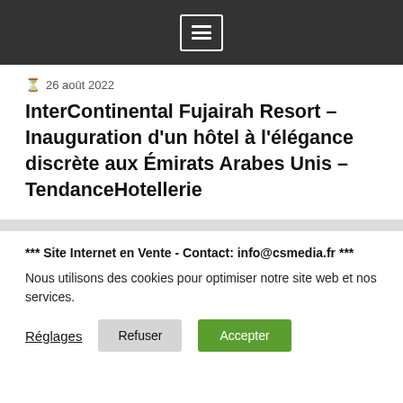[menu icon]
26 août 2022
InterContinental Fujairah Resort – Inauguration d'un hôtel à l'élégance discrète aux Émirats Arabes Unis – TendanceHotellerie
*** Site Internet en Vente - Contact: info@csmedia.fr ***
Nous utilisons des cookies pour optimiser notre site web et nos services.
Réglages   Refuser   Accepter